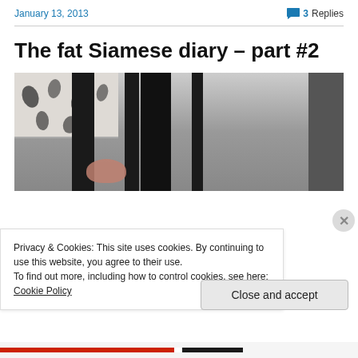January 13, 2013
3 Replies
The fat Siamese diary – part #2
[Figure (photo): Partial photo of a Siamese cat in a room with dark vertical pillars/furniture and a floral-patterned window covering. A cat paw is partially visible in the lower portion.]
Privacy & Cookies: This site uses cookies. By continuing to use this website, you agree to their use.
To find out more, including how to control cookies, see here: Cookie Policy
Close and accept